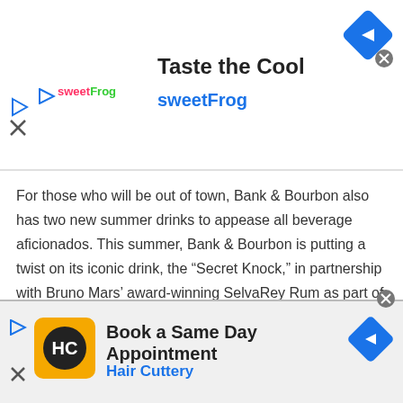[Figure (advertisement): sweetFrog ad banner: 'Taste the Cool / sweetFrog' with logo, navigation diamond icon, and close X button]
For those who will be out of town, Bank & Bourbon also has two new summer drinks to appease all beverage aficionados. This summer, Bank & Bourbon is putting a twist on its iconic drink, the “Secret Knock,” in partnership with Bruno Mars’ award-winning SelvaRey Rum as part of a larger program, Summerfest by Loews Hotels.
The Piña Colada Milk Punch cocktail includes SelvaRey Rum, coconut water, falernum, demerara syrup, pineapple
[Figure (advertisement): Hair Cuttery ad banner: 'Book a Same Day Appointment / Hair Cuttery' with HC logo, navigation diamond, play and close buttons]